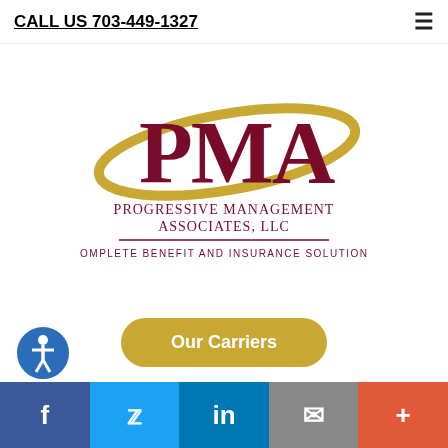CALL US 703-449-1327
[Figure (logo): PMA Progressive Management Associates, LLC - Complete Benefit and Insurance Solutions logo with gold swoosh]
[Figure (other): Our Carriers button - gold rounded rectangle]
coverage from such top insurers as Progressive, Travelers, Hartford, Metlife, Allied, Safeco and Kemper Preferred. Learn more about coverage options and homeowners
[Figure (other): Accessibility icon - blue circle with person figure]
Social share bar: Facebook, Twitter, LinkedIn, Email, More